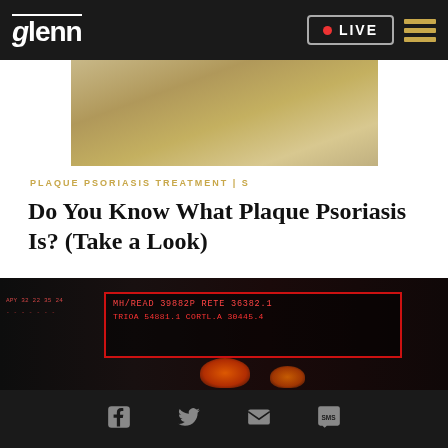glenn LIVE
[Figure (photo): Close-up photo of a person's skin/hand on a wooden floor background, partially cropped]
PLAQUE PSORIASIS TREATMENT | S
Do You Know What Plaque Psoriasis Is? (Take a Look)
[Figure (screenshot): Dark studio/broadcast environment with red-bordered ticker display screen showing financial or news data in red text]
Social share icons: Facebook, Twitter, Email, SMS